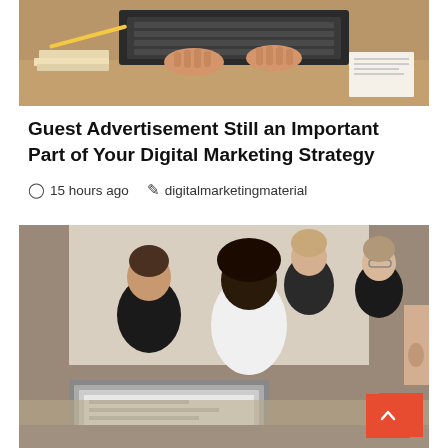[Figure (photo): Person typing on laptop keyboard, papers and books in background]
Guest Advertisement Still an Important Part of Your Digital Marketing Strategy
15 hours ago   digitalmarketingmaterial
[Figure (photo): Group of diverse young professionals collaborating around a laptop, with a DIGITAL MARKETING badge overlay in the top-left corner]